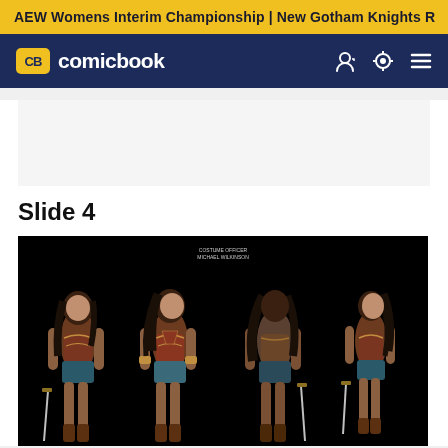AEW Womens Interim Championship | New Gotham Knights R
[Figure (screenshot): ComicBook.com website navigation bar with yellow CB logo and 'comicbook' text in white on dark navy background, with user account icon, light/dark toggle, and menu icons on the right]
Slide 4
[Figure (photo): Four poses of Wonder Woman (Gal Gadot) costume design concept art on black background, showing front, three-quarter, back, and side views of the character in her iconic armor with sword. Text overlay reads 'COSTUME OFFICER MICHAEL WILKINSON']